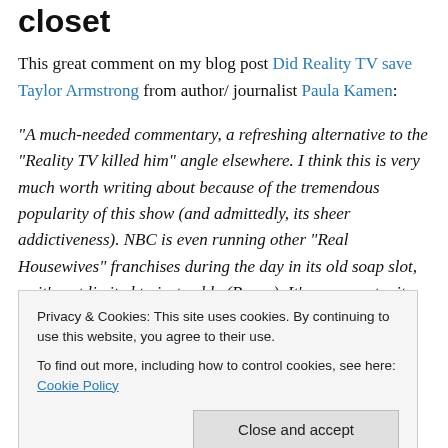closet
This great comment on my blog post Did Reality TV save Taylor Armstrong from author/ journalist Paula Kamen:
“A much-needed commentary, a refreshing alternative to the “Reality TV killed him” angle elsewhere. I think this is very much worth writing about because of the tremendous popularity of this show (and admittedly, its sheer addictiveness). NBC is even running other “Real Housewives” franchises during the day in its old soap slot, so it’s not limited to just cable (Bravo). It’s an opportunity
Privacy & Cookies: This site uses cookies. By continuing to use this website, you agree to their use.
To find out more, including how to control cookies, see here: Cookie Policy
about domestic violence? Or suicide prevention? RHOBH